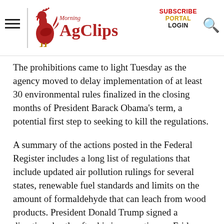Morning AgClips — SUBSCRIBE PORTAL LOGIN
The prohibitions came to light Tuesday as the agency moved to delay implementation of at least 30 environmental rules finalized in the closing months of President Barack Obama's term, a potential first step to seeking to kill the regulations.
A summary of the actions posted in the Federal Register includes a long list of regulations that include updated air pollution rulings for several states, renewable fuel standards and limits on the amount of formaldehyde that can leach from wood products. President Donald Trump signed a directive shortly after his inauguration on Friday ordering a “regulatory freeze pending review” for all federal agency rules that had been finalized that have not yet taken effect.
Emails sent to EPA staff and reviewed by The Associated